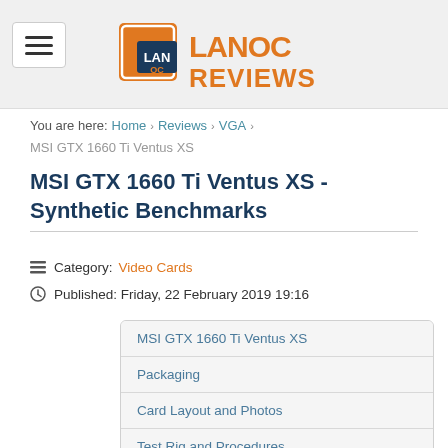LanOC Reviews
You are here: Home > Reviews > VGA > MSI GTX 1660 Ti Ventus XS
MSI GTX 1660 Ti Ventus XS - Synthetic Benchmarks
Category: Video Cards
Published: Friday, 22 February 2019 19:16
MSI GTX 1660 Ti Ventus XS
Packaging
Card Layout and Photos
Test Rig and Procedures
Synthetic Benchmarks
VR Benchmarks
In-Game Benchmarks